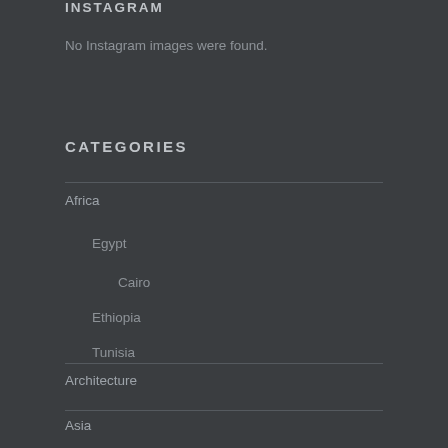INSTAGRAM
No Instagram images were found.
CATEGORIES
Africa
Egypt
Cairo
Ethiopia
Tunisia
Architecture
Asia